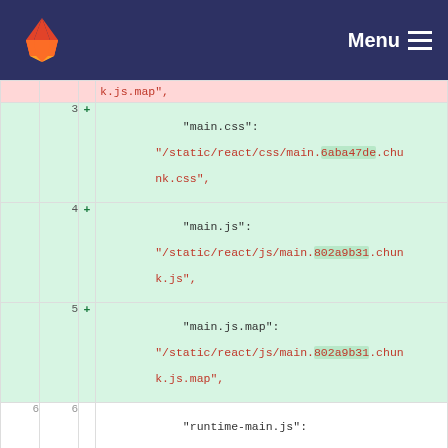GitLab header with logo and Menu button
[Figure (screenshot): GitLab diff view showing code changes to a JSON asset manifest file with added lines (green) and deleted lines (pink). Lines shown include main.css, main.js, main.js.map, runtime-main.js, runtime-main.js.map, and js/2.f51a0a11.chunk.js entries.]